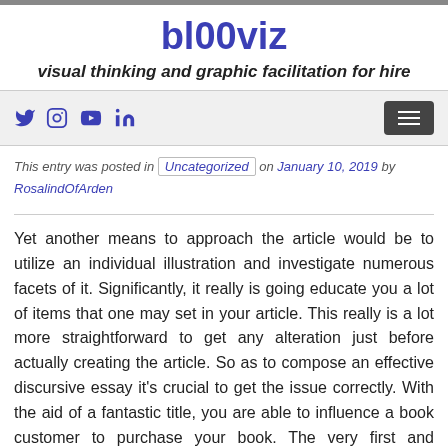bl00viz
visual thinking and graphic facilitation for hire
Navigation bar with social icons and menu button
This entry was posted in Uncategorized on January 10, 2019 by RosalindOfArden
Yet another means to approach the article would be to utilize an individual illustration and investigate numerous facets of it. Significantly, it really is going educate you a lot of items that one may set in your article. This really is a lot more straightforward to get any alteration just before actually creating the article. So as to compose an effective discursive essay it's crucial to get the issue correctly. With the aid of a fantastic title, you are able to influence a book customer to purchase your book. The very first and foremost